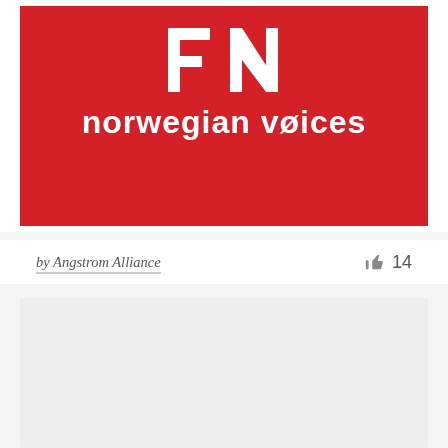[Figure (logo): Red background block showing 'FN' logo letters in white and 'norwegian voices' brand text in white below on a red (#d42027) background]
by Angstrom Alliance
14
[Figure (other): Light gray empty rectangular block at the bottom of the page]